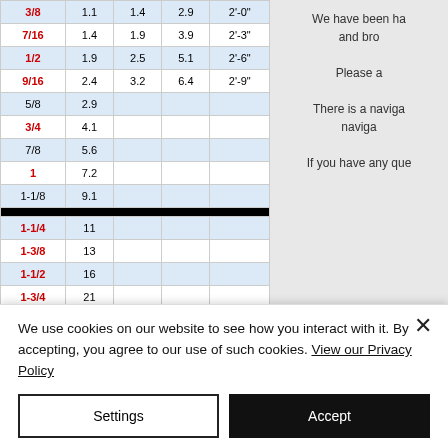| Size | Col2 | Col3 | Col4 | Col5 |
| --- | --- | --- | --- | --- |
| 3/8 | 1.1 | 1.4 | 2.9 | 2'-0" |
| 7/16 | 1.4 | 1.9 | 3.9 | 2'-3" |
| 1/2 | 1.9 | 2.5 | 5.1 | 2'-6" |
| 9/16 | 2.4 | 3.2 | 6.4 | 2'-9" |
| 5/8 | 2.9 |  |  |  |
| 3/4 | 4.1 |  |  |  |
| 7/8 | 5.6 |  |  |  |
| 1 | 7.2 |  |  |  |
| 1-1/8 | 9.1 |  |  |  |
| 1-1/4 | 11 |  |  |  |
| 1-3/8 | 13 |  |  |  |
| 1-1/2 | 16 |  |  |  |
| 1-3/4 | 21 |  |  |  |
| 2 | 28 |  |  |  |
| 2-1/4 | 35 |  |  |  |
| 2-1/2 | 42 |  |  |  |
We have been ha and bro
Please a
There is a naviga naviga
If you have any que
NOTE: Larger diameter
* When using the designated sliding choker hooks, the
We use cookies on our website to see how you interact with it. By accepting, you agree to our use of such cookies. View our Privacy Policy
Settings
Accept